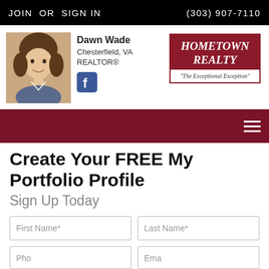JOIN OR SIGN IN | (303) 907-7110
Dawn Wade
Chesterfield, VA
REALTOR®
[Figure (logo): Hometown Realty logo — dark red background with italic white text 'HOMETOWN REALTY' and tagline 'The Exceptional Exception']
Create Your FREE My Portfolio Profile
Sign Up Today
First Name*
Last Name*